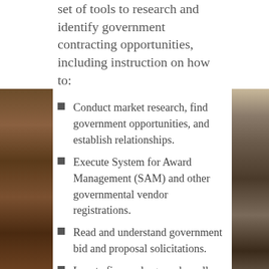set of tools to research and identify government contracting opportunities, including instruction on how to:
Conduct market research, find government opportunities, and establish relationships.
Execute System for Award Management (SAM) and other governmental vendor registrations.
Read and understand government bid and proposal solicitations.
Locate firms – large and small – and form partnering agreements between firms.
Prepare, review and finalize a bid or
[Figure (photo): Photo of people at a meeting or seminar, left side partial view]
[Figure (photo): Photo of people at a meeting or seminar, right side partial view]